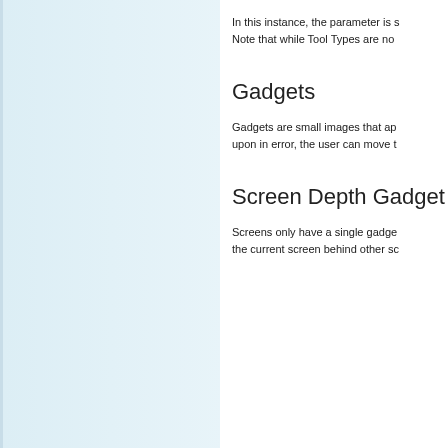[Figure (other): Left sidebar panel with light blue gradient background]
In this instance, the parameter is s Note that while Tool Types are no
Gadgets
Gadgets are small images that ap upon in error, the user can move t
Screen Depth Gadget
Screens only have a single gadge the current screen behind other sc